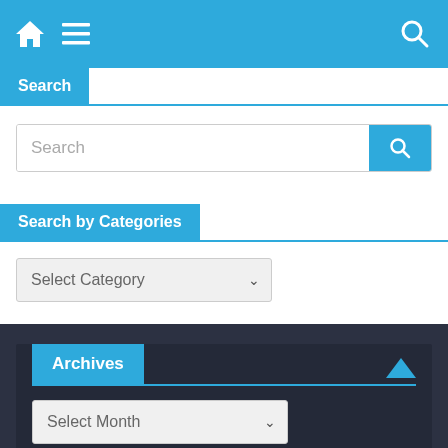Navigation bar with home icon, menu icon, and search icon
Search
Search (search input box with search button)
Search by Categories
Select Category
Archives
Select Month